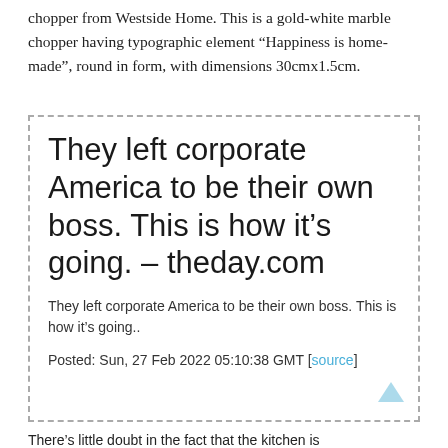make over to your kitchen counter top with this chopper from Westside Home. This is a gold-white marble chopper having typographic element “Happiness is home-made”, round in form, with dimensions 30cmx1.5cm.
They left corporate America to be their own boss. This is how it’s going. – theday.com
They left corporate America to be their own boss. This is how it’s going..
Posted: Sun, 27 Feb 2022 05:10:38 GMT [source]
There’s little doubt in the fact that the kitchen is